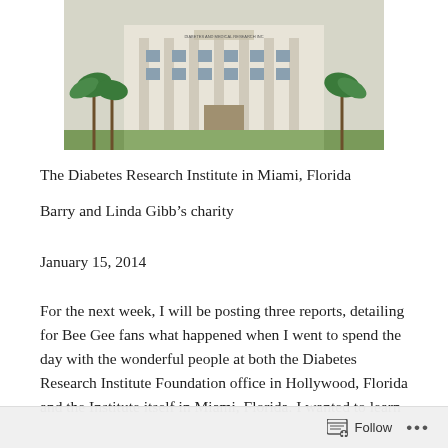[Figure (photo): Exterior photograph of the Diabetes Research Institute building in Miami, Florida, showing a white multi-story building with columns, palm trees, and a walkway.]
The Diabetes Research Institute in Miami, Florida
Barry and Linda Gibb’s charity
January 15, 2014
For the next week, I will be posting three reports, detailing for Bee Gee fans what happened when I went to spend the day with the wonderful people at both the Diabetes Research Institute Foundation office in Hollywood, Florida and the Institute itself in Miami, Florida. I wanted to learn